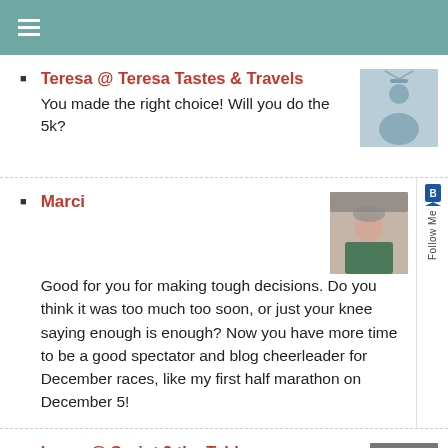≡
Teresa @ Teresa Tastes & Travels
You made the right choice! Will you do the 5k?
Marci
Good for you for making tough decisions. Do you think it was too much too soon, or just your knee saying enough is enough? Now you have more time to be a good spectator and blog cheerleader for December races, like my first half marathon on December 5!
Laura @ Sprint 2 the Table